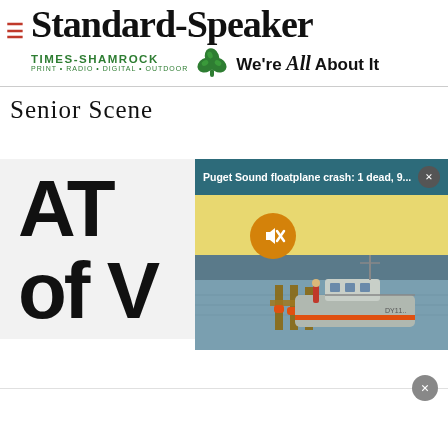Standard-Speaker / TIMES-SHAMROCK PRINT · RADIO · DIGITAL · OUTDOOR — We're All About It
Senior Scene
[Figure (screenshot): Partial book cover showing large bold letters 'AT' and partial second line, overlaid by a news popup: 'Puget Sound floatplane crash: 1 dead, 9...' with a photo of a Coast Guard vessel on water at dusk, a mute button icon, and a close button. Bottom portion shows a white advertisement area with a close/dismiss X button.]